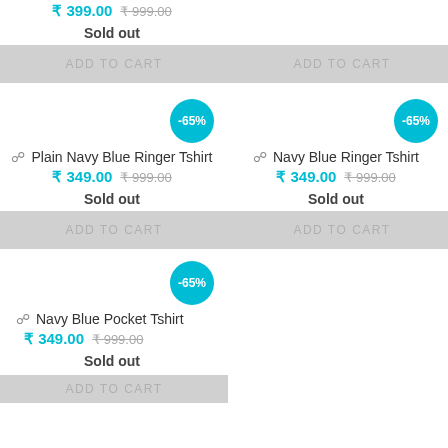₹ 399.00 ₹ 999.00
Sold out
ADD TO CART
ADD TO CART
-65%
-65%
Plain Navy Blue Ringer Tshirt
Navy Blue Ringer Tshirt
₹ 349.00 ₹ 999.00
₹ 349.00 ₹ 999.00
Sold out
Sold out
ADD TO CART
ADD TO CART
-65%
Navy Blue Pocket Tshirt
₹ 349.00 ₹ 999.00
Sold out